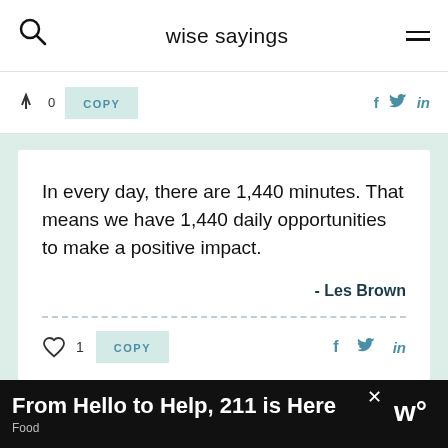wise sayings
In every day, there are 1,440 minutes. That means we have 1,440 daily opportunities to make a positive impact.
- Les Brown
From Hello to Help, 211 is Here | Food